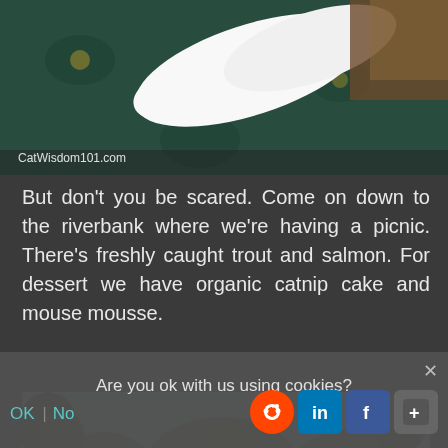[Figure (photo): Close-up photo of a white cat paw/leg resting on a decorative teal/green floral patterned fabric. Watermark reads CatWisdom101.com]
But don't you be scared. Come on down to the riverbank where we're having a picnic. There's freshly caught trout and salmon. For dessert we have organic catnip cake and mouse mousse.
[Figure (illustration): Painting/illustration of anthropomorphic cats having a picnic by a riverbank. Cats are dancing, playing, and sitting in a green meadow with trees and a river in the background. A rowboat is visible.]
Are you ok with us using cookies?
OK  No